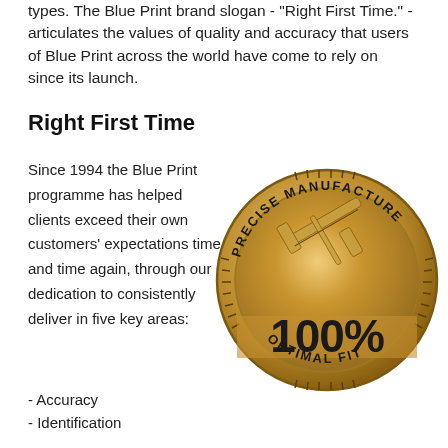types. The Blue Print brand slogan - "Right First Time." - articulates the values of quality and accuracy that users of Blue Print across the world have come to rely on since its launch.
Right First Time
Since 1994 the Blue Print programme has helped clients exceed their own customers' expectations time and time again, through our dedication to consistently deliver in five key areas:
[Figure (illustration): A gold circular badge/seal with text 'PRECISE MANUFACTURE' along the top arc and 'OPTIMAL FIT' along the bottom arc, with tick marks around the border, a caliper tool graphic in the upper half, and '100%' in large bold text in the lower half.]
- Accuracy
- Identification